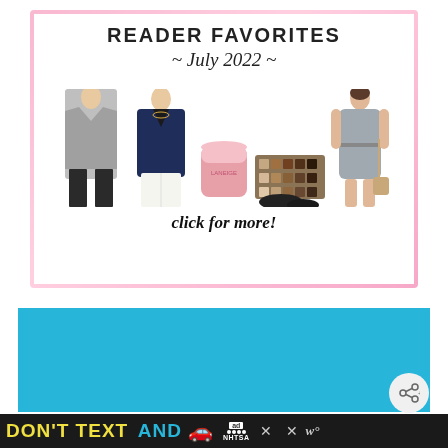[Figure (infographic): Reader Favorites July 2022 promotional card with pink gradient border, showing 5 product images (gray blazer, navy shirt, pink lip balm, eyeshadow palette, black flats, gray dress) and text 'click for more!']
[Figure (photo): Solid cyan/blue advertisement banner]
[Figure (infographic): Bottom advertisement bar with black background: 'DON'T TEXT AND' in yellow and cyan with red car emoji, ad badge, NHTSA logo, close X button, and W logo]